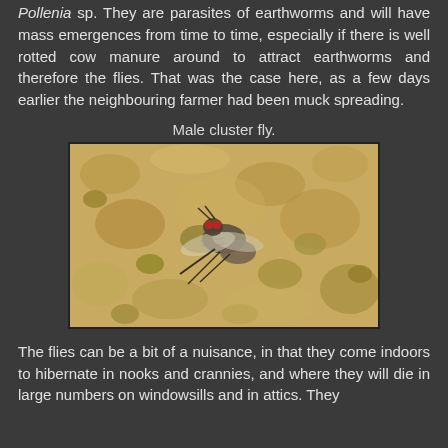Pollenia sp. They are parasites of earthworms and will have mass emergences from time to time, especially if there is well rotted cow manure around to attract earthworms and therefore the flies. That was the case here, as a few days earlier the neighbouring farmer had been muck spreading.
Male cluster fly.
[Figure (photo): Close-up photograph of a male cluster fly (Pollenia sp.) resting on sandy/gravelly ground. The fly is shown from above, with visible wings folded over its body, compound eyes, and dark legs against a sandy yellowish-beige background.]
The flies can be a bit of a nuisance, in that they come indoors to hibernate in nooks and crannies, and where they will die in large numbers on windowsills and in attics. They